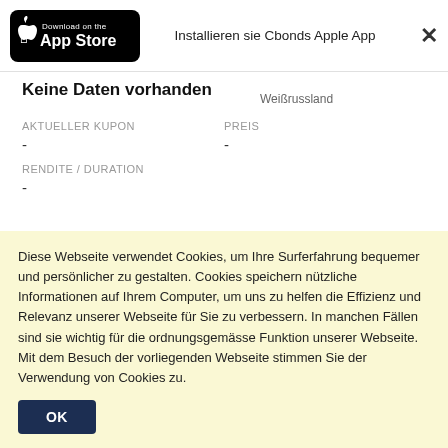[Figure (screenshot): App Store download badge (black background, Apple logo, 'Download on the App Store' text)]
Installieren sie Cbonds Apple App
×
Weißrussland
Keine Daten vorhanden
AKTUELLER KUPON
-
PREIS
-
RENDITE / DURATION
-
Rechner
Diese Webseite verwendet Cookies, um Ihre Surferfahrung bequemer und persönlicher zu gestalten. Cookies speichern nützliche Informationen auf Ihrem Computer, um uns zu helfen die Effizienz und Relevanz unserer Webseite für Sie zu verbessern. In manchen Fällen sind sie wichtig für die ordnungsgemässe Funktion unserer Webseite. Mit dem Besuch der vorliegenden Webseite stimmen Sie der Verwendung von Cookies zu.
OK